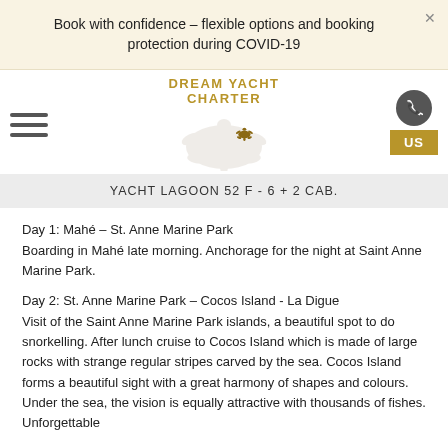Book with confidence – flexible options and booking protection during COVID-19
[Figure (logo): Dream Yacht Charter logo with turtle watermark illustration]
YACHT LAGOON 52 F - 6 + 2 CAB.
Day 1: Mahé – St. Anne Marine Park
Boarding in Mahé late morning. Anchorage for the night at Saint Anne Marine Park.
Day 2: St. Anne Marine Park – Cocos Island - La Digue
Visit of the Saint Anne Marine Park islands, a beautiful spot to do snorkelling. After lunch cruise to Cocos Island which is made of large rocks with strange regular stripes carved by the sea. Cocos Island forms a beautiful sight with a great harmony of shapes and colours. Under the sea, the vision is equally attractive with thousands of fishes. Unforgettable